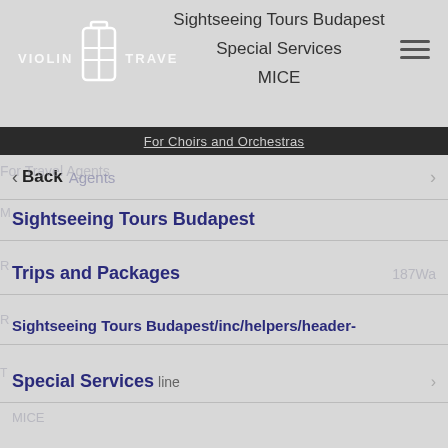VIOLIN TRAVEL — Sightseeing Tours Budapest / Special Services / MICE
For Choirs and Orchestras
< Back   For Travel Agents
Sightseeing Tours Budapest
Trips and Packages   187War
Sightseeing Tours Budapest /inc/helpers/header-
Special Services  line
MICE